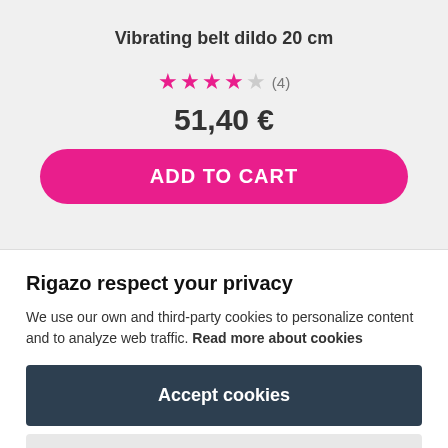Vibrating belt dildo 20 cm
★★★★☆ (4)
51,40 €
ADD TO CART
Rigazo respect your privacy
We use our own and third-party cookies to personalize content and to analyze web traffic. Read more about cookies
Accept cookies
Reject